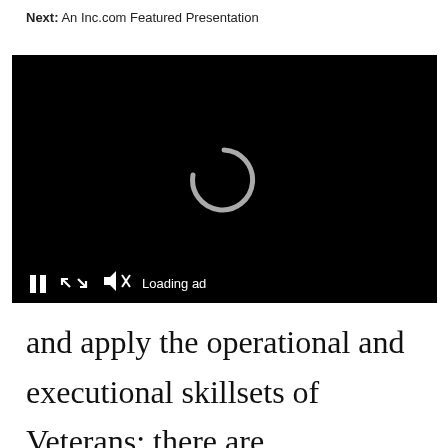Next: An Inc.com Featured Presentation
[Figure (screenshot): A video player with a black background showing a loading spinner (partial white circle) in the center. Controls at the bottom show a pause button, fullscreen button, muted speaker icon, and 'Loading ad' text.]
and apply the operational and executional skillsets of Veterans; there are misunderstandings about what it's like to work with them (because of perceived